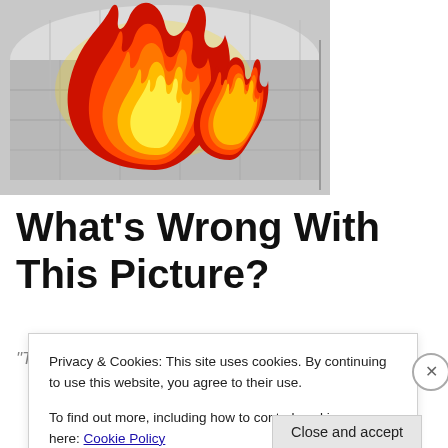[Figure (illustration): A mattress with a large fire/flame emoji superimposed on top of it. The mattress appears silver/grey with a quilted texture. The flame is a stylized cartoon fire in red, orange, and yellow.]
What’s Wrong With This Picture?
“The… [partial text partially obscured by cookie banner]
Privacy & Cookies: This site uses cookies. By continuing to use this website, you agree to their use.
To find out more, including how to control cookies, see here: Cookie Policy
Close and accept